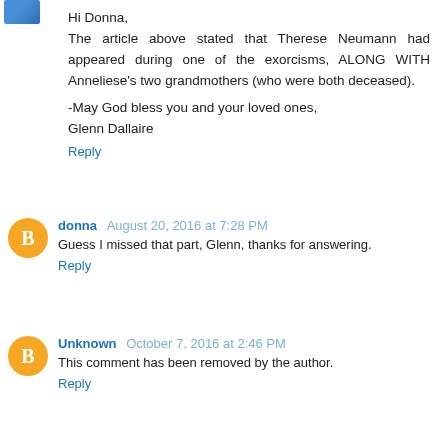Hi Donna,
The article above stated that Therese Neumann had appeared during one of the exorcisms, ALONG WITH Anneliese's two grandmothers (who were both deceased).

-May God bless you and your loved ones,
Glenn Dallaire
Reply
donna  August 20, 2016 at 7:28 PM
Guess I missed that part, Glenn, thanks for answering.
Reply
Unknown  October 7, 2016 at 2:46 PM
This comment has been removed by the author.
Reply